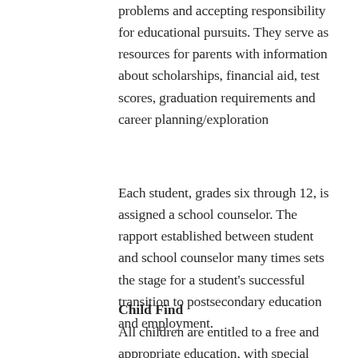problems and accepting responsibility for educational pursuits. They serve as resources for parents with information about scholarships, financial aid, test scores, graduation requirements and career planning/exploration
Each student, grades six through 12, is assigned a school counselor. The rapport established between student and school counselor many times sets the stage for a student's successful transition to postsecondary education and employment.
Child Find
All children are entitled to a free and appropriate education, with special services